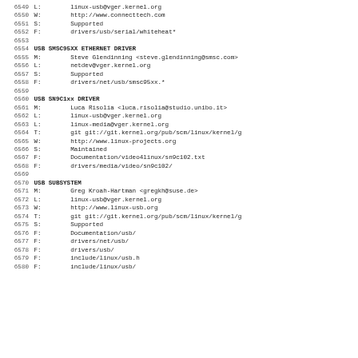6549 L:        linux-usb@vger.kernel.org
6550 W:        http://www.connecttech.com
6551 S:        Supported
6552 F:        drivers/usb/serial/whiteheat*
6553
6554 USB SMSC95XX ETHERNET DRIVER
6555 M:        Steve Glendinning <steve.glendinning@smsc.com>
6556 L:        netdev@vger.kernel.org
6557 S:        Supported
6558 F:        drivers/net/usb/smsc95xx.*
6559
6560 USB SN9C1xx DRIVER
6561 M:        Luca Risolia <luca.risolia@studio.unibo.it>
6562 L:        linux-usb@vger.kernel.org
6563 L:        linux-media@vger.kernel.org
6564 T:        git git://git.kernel.org/pub/scm/linux/kernel/g
6565 W:        http://www.linux-projects.org
6566 S:        Maintained
6567 F:        Documentation/video4linux/sn9c102.txt
6568 F:        drivers/media/video/sn9c102/
6569
6570 USB SUBSYSTEM
6571 M:        Greg Kroah-Hartman <gregkh@suse.de>
6572 L:        linux-usb@vger.kernel.org
6573 W:        http://www.linux-usb.org
6574 T:        git git://git.kernel.org/pub/scm/linux/kernel/g
6575 S:        Supported
6576 F:        Documentation/usb/
6577 F:        drivers/net/usb/
6578 F:        drivers/usb/
6579 F:        include/linux/usb.h
6580 F:        include/linux/usb/